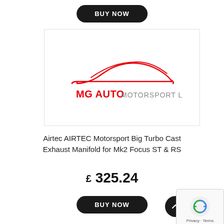BUY NOW
[Figure (logo): MG Auto Motorsport Ltd logo — red car silhouette outline above text 'MG AUTO' in red and 'MOTORSPORT LTD' in grey]
Airtec AIRTEC Motorsport Big Turbo Cast Exhaust Manifold for Mk2 Focus ST & RS
£ 325.24
BUY NOW